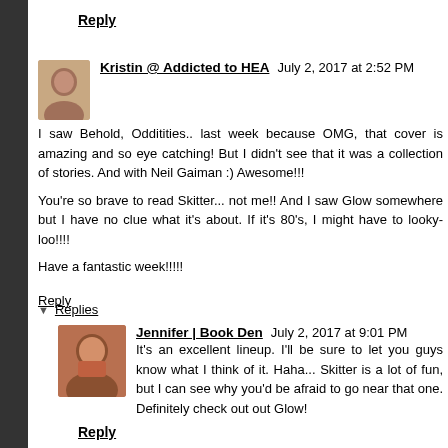Reply
Kristin @ Addicted to HEA  July 2, 2017 at 2:52 PM
I saw Behold, Odditities.. last week because OMG, that cover is amazing and so eye catching! But I didn't see that it was a collection of stories. And with Neil Gaiman :) Awesome!!!

You're so brave to read Skitter... not me!! And I saw Glow somewhere but I have no clue what it's about. If it's 80's, I might have to looky-loo!!!!

Have a fantastic week!!!!!
Reply
Replies
Jennifer | Book Den  July 2, 2017 at 9:01 PM
It's an excellent lineup. I'll be sure to let you guys know what I think of it. Haha... Skitter is a lot of fun, but I can see why you'd be afraid to go near that one. Definitely check out out Glow!
Reply